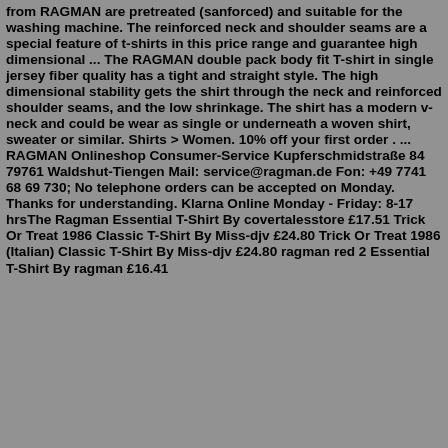from RAGMAN are pretreated (sanforced) and suitable for the washing machine. The reinforced neck and shoulder seams are a special feature of t-shirts in this price range and guarantee high dimensional ... The RAGMAN double pack body fit T-shirt in single jersey fiber quality has a tight and straight style. The high dimensional stability gets the shirt through the neck and reinforced shoulder seams, and the low shrinkage. The shirt has a modern v-neck and could be wear as single or underneath a woven shirt, sweater or similar. Shirts > Women. 10% off your first order . ... RAGMAN Onlineshop Consumer-Service Kupferschmidstraße 84 79761 Waldshut-Tiengen Mail: service@ragman.de Fon: +49 7741 68 69 730; No telephone orders can be accepted on Monday. Thanks for understanding. Klarna Online Monday - Friday: 8-17 hrsThe Ragman Essential T-Shirt By covertalesstore £17.51 Trick Or Treat 1986 Classic T-Shirt By Miss-djv £24.80 Trick Or Treat 1986 (Italian) Classic T-Shirt By Miss-djv £24.80 ragman red 2 Essential T-Shirt By ragman £16.41